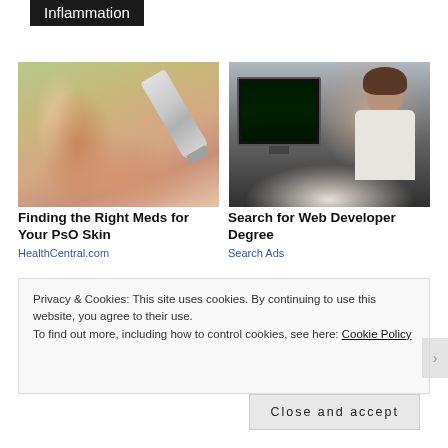Inflammation
[Figure (photo): Close-up of hands with a cream or medication tube being applied]
Finding the Right Meds for Your PsO Skin
HealthCentral.com
[Figure (photo): Person seen from behind sitting at a desk with computer monitors]
Search for Web Developer Degree
Search Ads
Privacy & Cookies: This site uses cookies. By continuing to use this website, you agree to their use.
To find out more, including how to control cookies, see here: Cookie Policy
Close and accept